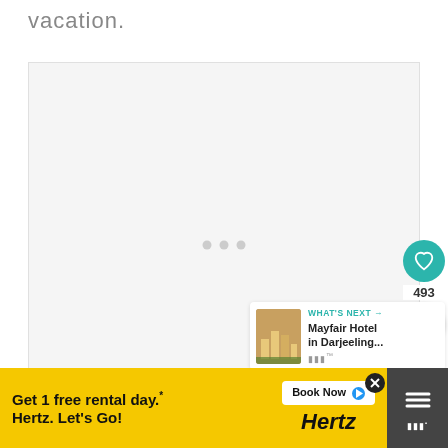vacation.
[Figure (photo): Large image placeholder area with three dots indicator in center, heart/like button (teal, 493 likes), share button, and a 'What's Next' panel showing Mayfair Hotel in Darjeeling thumbnail]
[Figure (infographic): Advertisement banner: 'Get 1 free rental day.* Hertz. Let's Go!' with Book Now button and Hertz logo on yellow background]